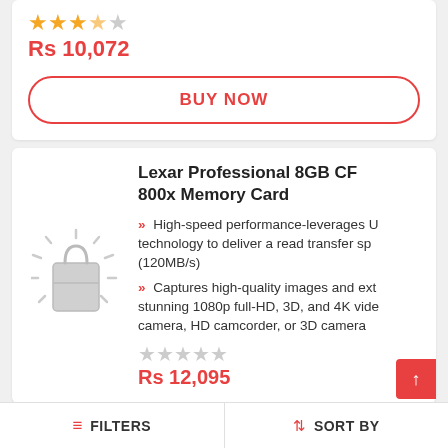[Figure (other): Star rating: 3.5 out of 5 stars (orange filled stars)]
Rs 10,072
BUY NOW
Lexar Professional 8GB CF 800x Memory Card
[Figure (illustration): Product placeholder image: shopping bag with rays/sparkle effect in gray]
High-speed performance-leverages U technology to deliver a read transfer sp (120MB/s)
Captures high-quality images and ext stunning 1080p full-HD, 3D, and 4K vide camera, HD camcorder, or 3D camera
[Figure (other): Star rating: 0 out of 5 stars (empty gray stars)]
Rs 12,095
FILTERS   SORT BY